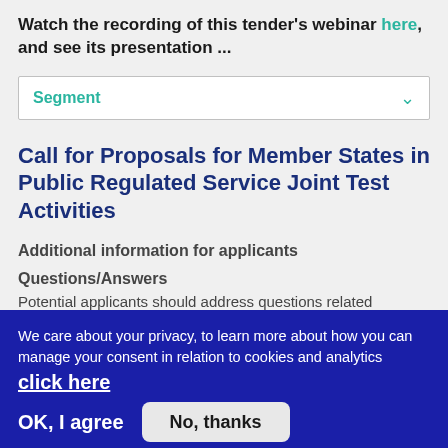Watch the recording of this tender's webinar here, and see its presentation ...
Segment
Call for Proposals for Member States in Public Regulated Service Joint Test Activities
Additional information for applicants
Questions/Answers
Potential applicants should address questions related
We care about your privacy, to learn more about how you can manage your consent in relation to cookies and analytics click here
OK, I agree
No, thanks